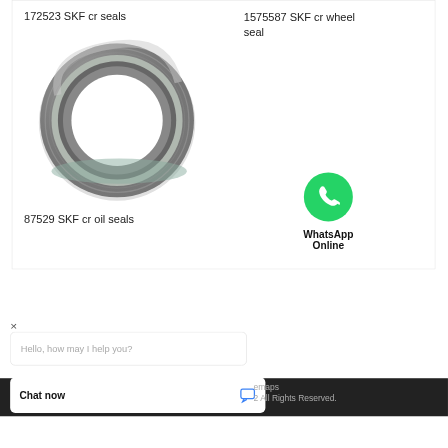172523 SKF cr seals
1575587 SKF cr wheel seal
[Figure (photo): Photo of an SKF CR oil seal ring, metallic ring with rubber lip seal, viewed from above at slight angle, showing concentric rings of steel and rubber.]
87529 SKF cr oil seals
[Figure (logo): WhatsApp green circular logo with white phone handset icon]
WhatsApp Online
×
Hello, how may I help you?
Chat now
emaps
2 All Rights Reserved.